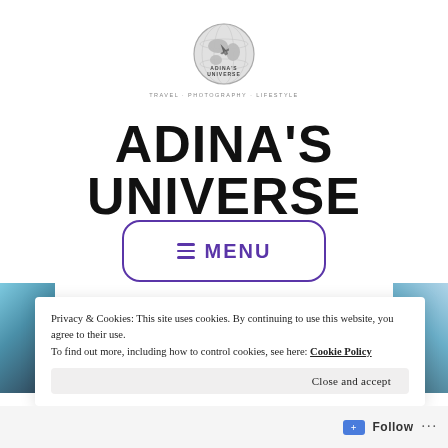[Figure (logo): Globe logo with airplane silhouette for Adina's Universe travel blog, with tagline text below]
ADINA'S UNIVERSE
[Figure (other): Menu button with hamburger icon and text MENU, purple outlined rounded rectangle]
Privacy & Cookies: This site uses cookies. By continuing to use this website, you agree to their use.
To find out more, including how to control cookies, see here: Cookie Policy
Close and accept
Follow